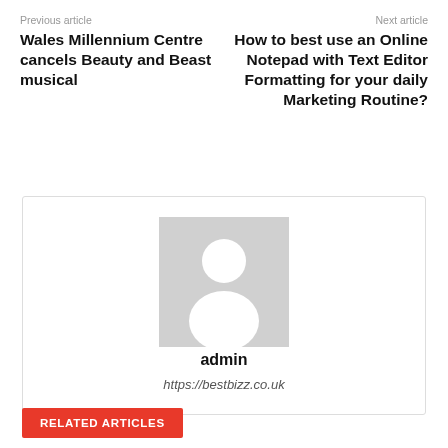Previous article
Wales Millennium Centre cancels Beauty and Beast musical
Next article
How to best use an Online Notepad with Text Editor Formatting for your daily Marketing Routine?
[Figure (illustration): Author avatar placeholder — grey square with white silhouette of a person (head and shoulders)]
admin
https://bestbizz.co.uk
RELATED ARTICLES